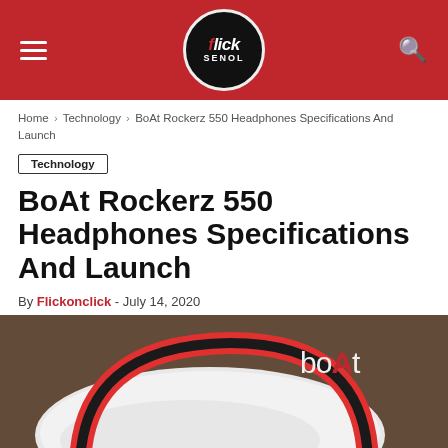Flickonclick — site header with logo
Home › Technology › BoAt Rockerz 550 Headphones Specifications And Launch
Technology
BoAt Rockerz 550 Headphones Specifications And Launch
By Flickonclick - July 14, 2020
[Figure (photo): BoAt Rockerz 550 red headphones resting on a white pillow on a brown carpet, with the boAt logo visible in the top right corner]